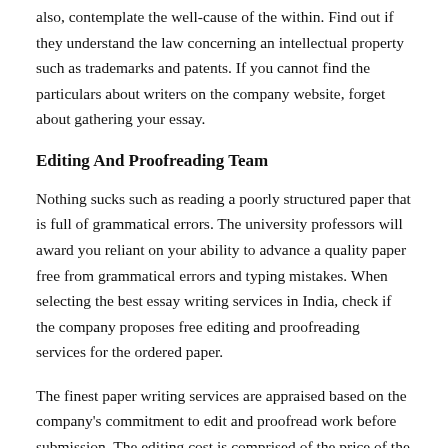also, contemplate the well-cause of the within. Find out if they understand the law concerning an intellectual property such as trademarks and patents. If you cannot find the particulars about writers on the company website, forget about gathering your essay.
Editing And Proofreading Team
Nothing sucks such as reading a poorly structured paper that is full of grammatical errors. The university professors will award you reliant on your ability to advance a quality paper free from grammatical errors and typing mistakes. When selecting the best essay writing services in India, check if the company proposes free editing and proofreading services for the ordered paper.
The finest paper writing services are appraised based on the company's commitment to edit and proofread work before submission. The editing cost is comprised of the price of the